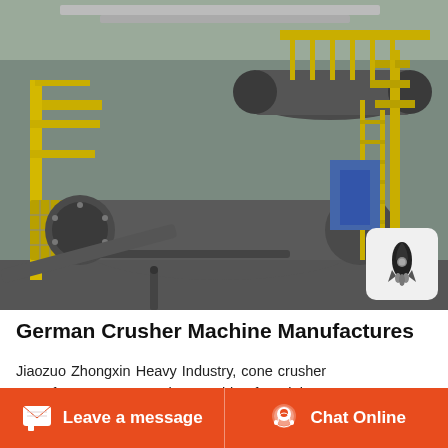[Figure (photo): Industrial mining machinery — large ball mills and conveyor systems inside a warehouse/factory, painted yellow structural supports, heavy grey cylindrical grinding drums.]
German Crusher Machine Manufactures
Jiaozuo Zhongxin Heavy Industry, cone crusher manufacturer,cone crusher machine for mining stone crushing,cone crusher machine,stone cone crusher,hydraulic cone crusher machine,spring
Leave a message   Chat Online